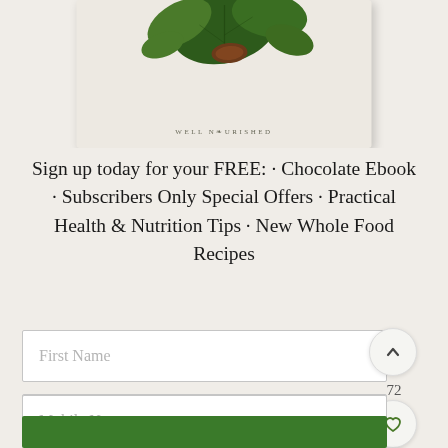[Figure (illustration): Partial view of a 'Well Nourished' book/card with botanical illustration of green leaves on a light beige background, shown at the top of the page (cropped at top)]
Sign up today for your FREE: · Chocolate Ebook · Subscribers Only Special Offers · Practical Health & Nutrition Tips · New Whole Food Recipes
[Figure (infographic): Web UI form with three input fields (First Name, Email Address, Mobile No) and a green submit button at the bottom. Side buttons on right: an up-chevron circle button, a count of 72, a heart circle button, and a green search circle button.]